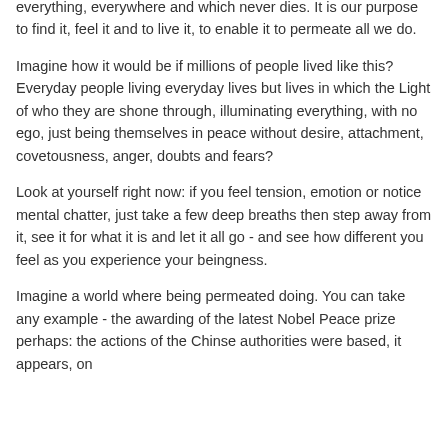everything, everywhere and which never dies. It is our purpose to find it, feel it and to live it, to enable it to permeate all we do.
Imagine how it would be if millions of people lived like this? Everyday people living everyday lives but lives in which the Light of who they are shone through, illuminating everything, with no ego, just being themselves in peace without desire, attachment, covetousness, anger, doubts and fears?
Look at yourself right now: if you feel tension, emotion or notice mental chatter, just take a few deep breaths then step away from it, see it for what it is and let it all go - and see how different you feel as you experience your beingness.
Imagine a world where being permeated doing. You can take any example - the awarding of the latest Nobel Peace prize perhaps: the actions of the Chinse authorities were based, it appears, on